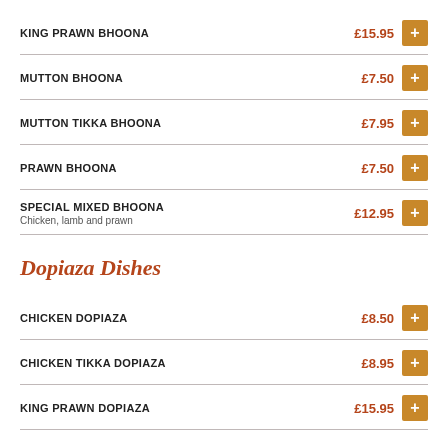KING PRAWN BHOONA £15.95
MUTTON BHOONA £7.50
MUTTON TIKKA BHOONA £7.95
PRAWN BHOONA £7.50
SPECIAL MIXED BHOONA £12.95 — Chicken, lamb and prawn
Dopiaza Dishes
CHICKEN DOPIAZA £8.50
CHICKEN TIKKA DOPIAZA £8.95
KING PRAWN DOPIAZA £15.95